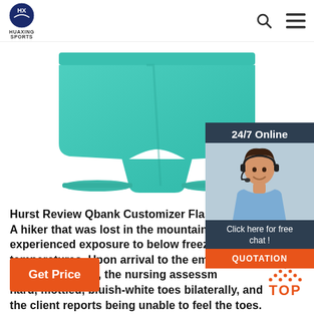HUAXING SPORTS
[Figure (photo): Teal/turquoise athletic compression shorts on white background]
[Figure (infographic): 24/7 Online chat widget with customer service agent photo and QUOTATION button]
Hurst Review Qbank Customizer Flash A hiker that was lost in the mountains experienced exposure to below freezing temperatures. Upon arrival to the emergency department (ED), the nursing assessment: hard, mottled, bluish-white toes bilaterally, and the client reports being unable to feel the toes.
[Figure (other): Get Price orange button]
[Figure (other): TOP scroll-to-top button in orange]